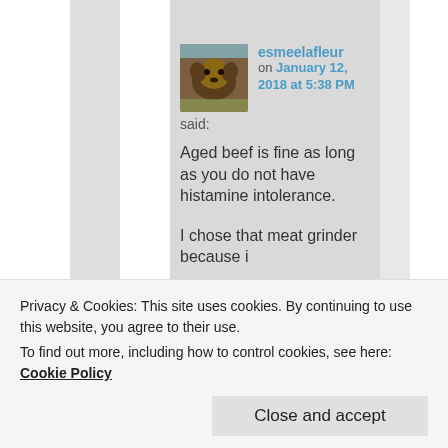[Figure (photo): User avatar photo of a dog]
esmeelafleur on January 12, 2018 at 5:38 PM said:
Aged beef is fine as long as you do not have histamine intolerance.

I chose that meat grinder because i
less expensive meat
Privacy & Cookies: This site uses cookies. By continuing to use this website, you agree to their use.
To find out more, including how to control cookies, see here: Cookie Policy
Close and accept